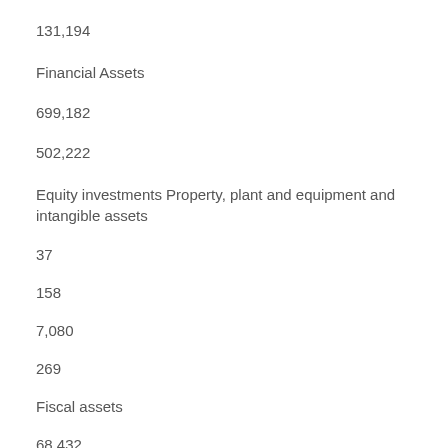131,194
Financial Assets
699,182
502,222
Equity investments Property, plant and equipment and intangible assets
37
158
7,080
269
Fiscal assets
68,432
70,776